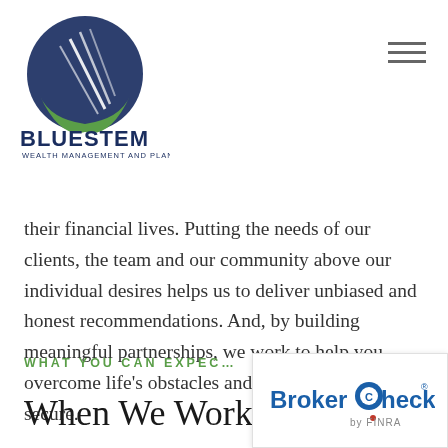[Figure (logo): Bluestem Wealth Management and Planning logo — circular icon with dark blue and green design and white diagonal lines, with 'BLUESTEM' in bold dark blue letters and 'WEALTH MANAGEMENT AND PLANNING' in smaller text below]
their financial lives. Putting the needs of our clients, the team and our community above our individual desires helps us to deliver unbiased and honest recommendations. And, by building meaningful partnerships, we work to help you overcome life's obstacles and feel financially secure.
WHAT YOU CAN EXPECT
When We Work To
[Figure (logo): BrokerCheck by FINRA logo in a white box — 'BrokerCheck' text in blue with circular C icon and registered trademark symbol, 'by FINRA' text below in gray]